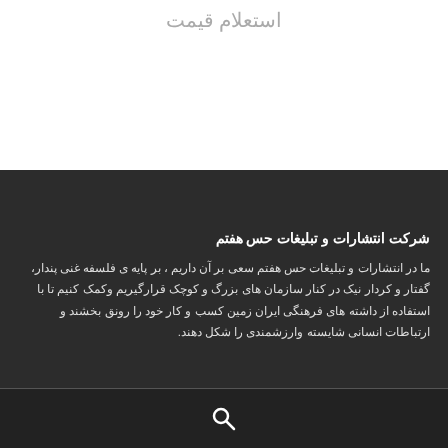استعلام قیمت
شرکت انتشارات و تبلیغات حس هفتم
ما در انتشارات و تبلیغات حس هفتم سعی بر آن داریم ، بر پایه ی فلسفه غنی پندار، گفتار و کردار نیک در کنار سازمان های بزرگ و کوچک قرارگیریم وکمک کنیم تا با استفاده از داشته های فرهنگی ایران زمین کسب و کار خود را رونق بخشند و ارتباطات انسانی شایسته وارزشمندی را شکل دهند.